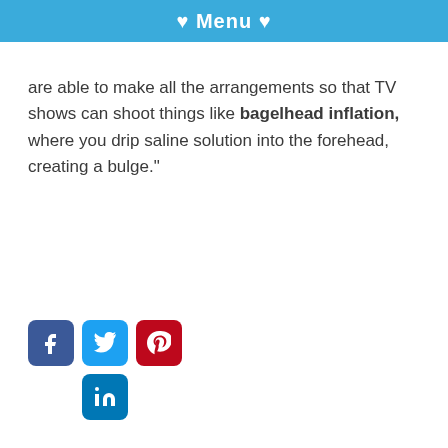♥ Menu ♥
are able to make all the arrangements so that TV shows can shoot things like bagelhead inflation, where you drip saline solution into the forehead, creating a bulge."
[Figure (other): Row of social media share icons: Facebook (blue), Twitter (light blue), Pinterest (red), and LinkedIn (blue) below]